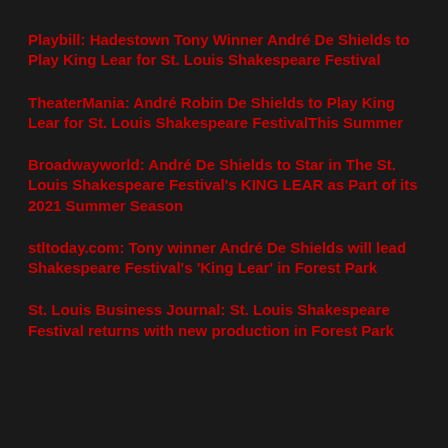Playbill: Hadestown Tony Winner André De Shields to Play King Lear for St. Louis Shakespeare Festival
TheaterMania: André Robin De Shields to Play King Lear for St. Louis Shakespeare FestivalThis Summer
Broadwayworld: André De Shields to Star in The St. Louis Shakespeare Festival's KING LEAR as Part of its 2021 Summer Season
stltoday.com: Tony winner André De Shields will lead Shakespeare Festival's 'King Lear' in Forest Park
St. Louis Business Journal: St. Louis Shakespeare Festival returns with new production in Forest Park